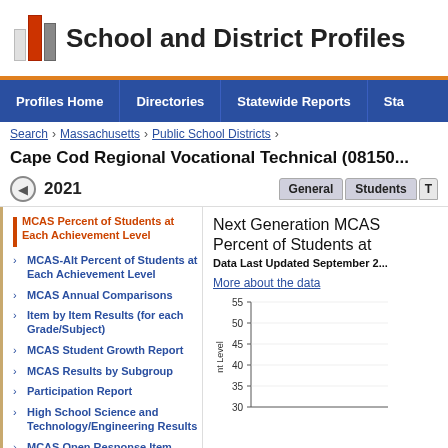School and District Profiles
Profiles Home | Directories | Statewide Reports | Sta
Search > Massachusetts > Public School Districts >
Cape Cod Regional Vocational Technical (08150...
2021
MCAS Percent of Students at Each Achievement Level
MCAS-Alt Percent of Students at Each Achievement Level
MCAS Annual Comparisons
Item by Item Results (for each Grade/Subject)
MCAS Student Growth Report
MCAS Results by Subgroup
Participation Report
High School Science and Technology/Engineering Results
MCAS Open Response Item Results
SAT Performance
Next Generation MCAS Percent of Students at
Data Last Updated September 2...
More about the data
[Figure (continuous-plot): Bar chart showing Next Generation MCAS Percent of Students at Each Achievement Level. Y-axis shows values from 30 to 55 with tick marks at 35, 40, 45, 50, 55. X-axis label reads 'nt Level'. Chart is partially visible.]